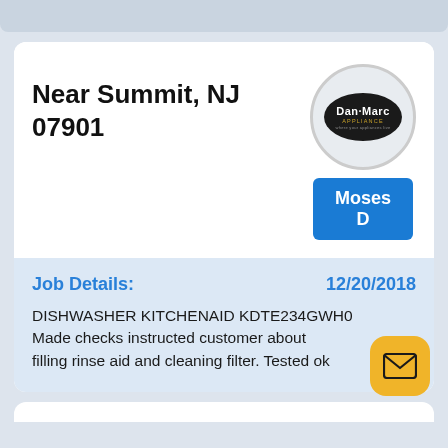Near Summit, NJ 07901
[Figure (logo): Dan-Marc Appliance oval logo on a circular badge with grey border]
Moses D
Job Details:
12/20/2018
DISHWASHER KITCHENAID KDTE234GWH0 Made checks instructed customer about filling rinse aid and cleaning filter. Tested ok